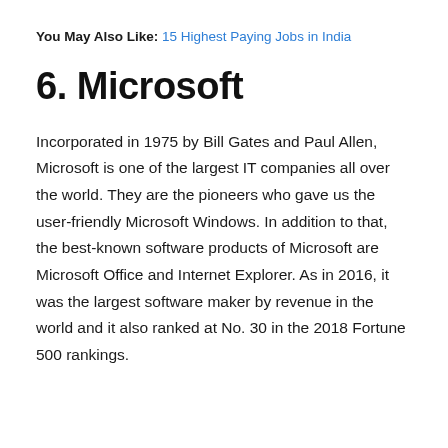You May Also Like: 15 Highest Paying Jobs in India
6. Microsoft
Incorporated in 1975 by Bill Gates and Paul Allen, Microsoft is one of the largest IT companies all over the world. They are the pioneers who gave us the user-friendly Microsoft Windows. In addition to that, the best-known software products of Microsoft are Microsoft Office and Internet Explorer. As in 2016, it was the largest software maker by revenue in the world and it also ranked at No. 30 in the 2018 Fortune 500 rankings.